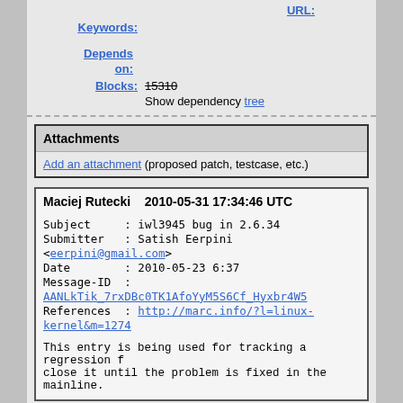URL:
Keywords:
Depends on:
Blocks: 15310
Show dependency tree
Attachments
Add an attachment (proposed patch, testcase, etc.)
Maciej Rutecki   2010-05-31 17:34:46 UTC
Subject    : iwl3945 bug in 2.6.34
Submitter  : Satish Eerpini <eerpini@gmail.com>
Date       : 2010-05-23 6:37
Message-ID : AANLkTik_7rxDBc0TK1AfoYyM5S6Cf_Hyxbr4W5
References : http://marc.info/?l=linux-kernel&m=1274
This entry is being used for tracking a regression f close it until the problem is fixed in the mainline.